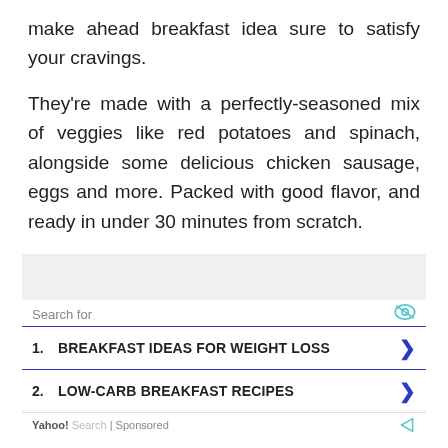make ahead breakfast idea sure to satisfy your cravings.
They're made with a perfectly-seasoned mix of veggies like red potatoes and spinach, alongside some delicious chicken sausage, eggs and more. Packed with good flavor, and ready in under 30 minutes from scratch.
[Figure (other): Sponsored search advertisement box from Yahoo! Search with a gray header bar, 'Search for' label with eye icon, two list items: 1. BREAKFAST IDEAS FOR WEIGHT LOSS, 2. LOW-CARB BREAKFAST RECIPES, each with a blue arrow, and a Yahoo! Search | Sponsored footer.]